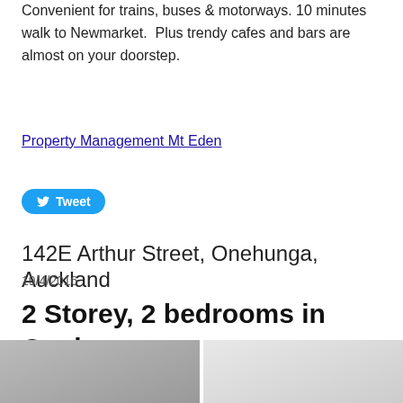Convenient for trains, buses & motorways. 10 minutes walk to Newmarket. Plus trendy cafes and bars are almost on your doorstep.
Property Management Mt Eden
[Figure (other): Twitter Tweet button]
142E Arthur Street, Onehunga, Auckland
19/4/2016
2 Storey, 2 bedrooms in Onehunga
[Figure (photo): Two property photos side by side at the bottom of the page]